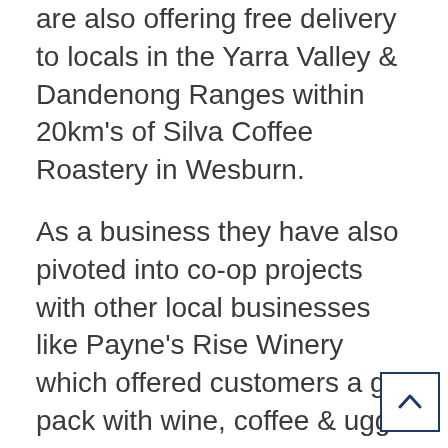are also offering free delivery to locals in the Yarra Valley & Dandenong Ranges within 20km's of Silva Coffee Roastery in Wesburn.
As a business they have also pivoted into co-op projects with other local businesses like Payne's Rise Winery which offered customers a gift pack with wine, coffee & ugg boots. This project brought many new social media followers and customers. Silva Coffee has also combined with Yarra Valley Chocolaterie and Morgans Distillery to create an Espresso Martini pack.
Silva Coffee have a positive outlook on their business as this crisis has given them time work on the business and become more creative. "We have invested more time on